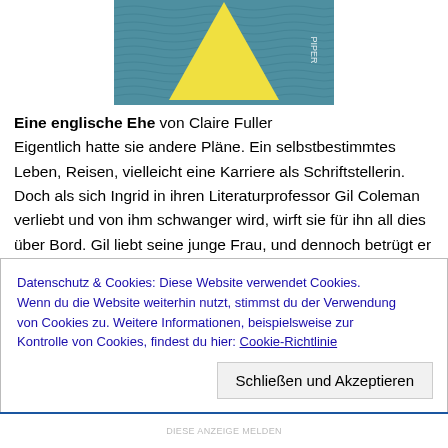[Figure (illustration): Book cover showing a yellow triangle shape on a blue/teal patterned background with the word PIPER visible]
Eine englische Ehe von Claire Fuller
Eigentlich hatte sie andere Pläne. Ein selbstbestimmtes Leben, Reisen, vielleicht eine Karriere als Schriftstellerin. Doch als sich Ingrid in ihren Literaturprofessor Gil Coleman verliebt und von ihm schwanger wird, wirft sie für ihn all dies über Bord. Gil liebt seine junge Frau, und dennoch betrügt er sie, lässt sie viel zu oft mit den Kindern allein. In ihren schlaflosen Nächten beginnt sie, Gil
Datenschutz & Cookies: Diese Website verwendet Cookies. Wenn du die Website weiterhin nutzt, stimmst du der Verwendung von Cookies zu. Weitere Informationen, beispielsweise zur Kontrolle von Cookies, findest du hier: Cookie-Richtlinie
Schließen und Akzeptieren